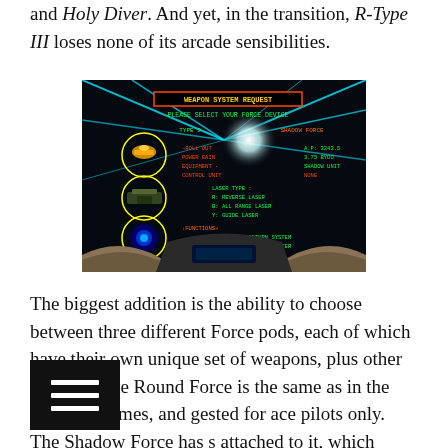and Holy Diver. And yet, in the transition, R-Type III loses none of its arcade sensibilities.
[Figure (screenshot): R-Type III SNES game screenshot showing the Weapon System Request screen with Force Device selection menu, displaying Type 2 spacecraft options, Shadow Force option, Roll Out, Power Gain, Equipment, Control Unit stats, Laser Type options (R: Reverse Laser, B: All Range Laser, Y: Guide Laser), Functions including High Speed Return System and All Range Shadow Blaster. Green and orange text on dark background with cyan energy beams.]
The biggest addition is the ability to choose between three different Force pods, each of which have their own unique set of weapons, plus other abilities. The Round Force is the same as in the previous games, and gested for ace pilots only. The Shadow Force has s attached to it, which auto-aim towards